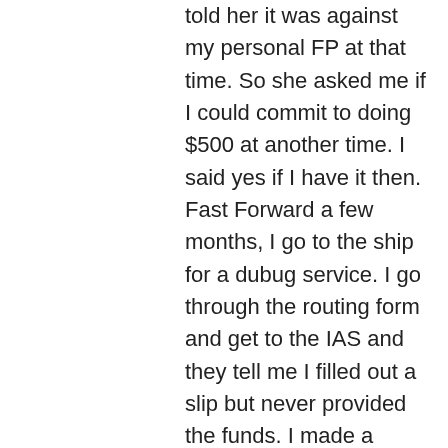told her it was against my personal FP at that time. So she asked me if I could commit to doing $500 at another time. I said yes if I have it then. Fast Forward a few months, I go to the ship for a dubug service. I go through the routing form and get to the IAS and they tell me I filled out a slip but never provided the funds. I made a promise that I didn't keep. Long story short, I had to cough up the money in order to get onto service and to stay on the ship. I was furious because I have never filled out a slip and Bridgette totally lied just to get her own stats up that night and filled out the slip for me.
To this day I have never given another dime to the IAS. I felt like what was the point if it wasn't on my own terms. They completely turned the